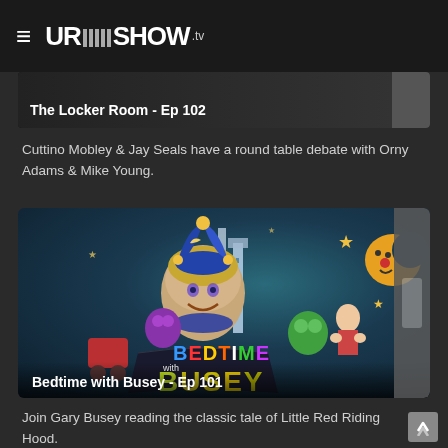≡ URShow.tv
[Figure (screenshot): Partial view of a show card: The Locker Room - Ep 102]
Cuttino Mobley & Jay Seals have a round table debate with Orny Adams & Mike Young.
[Figure (screenshot): Show card for Bedtime with Busey - Ep 101, featuring colorful illustrated artwork with Gary Busey wearing a jester hat surrounded by fairy tale imagery, with 'BEDTIME with BUSEY' text logo]
Join Gary Busey reading the classic tale of Little Red Riding Hood.